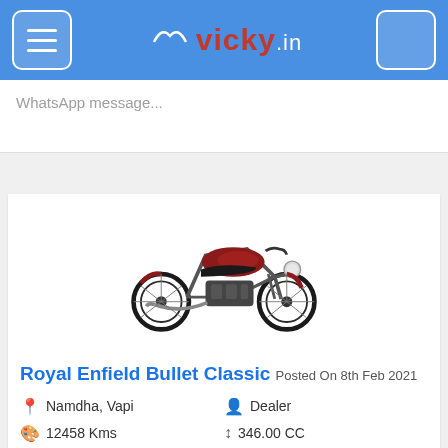vicky.in
WhatsApp message...
[Figure (photo): Red Royal Enfield Bullet Classic motorcycle, side profile view]
Royal Enfield Bullet Classic Posted On 8th Feb 2021
Namdha, Vapi
Dealer
12458 Kms
346.00 CC
2018 Model